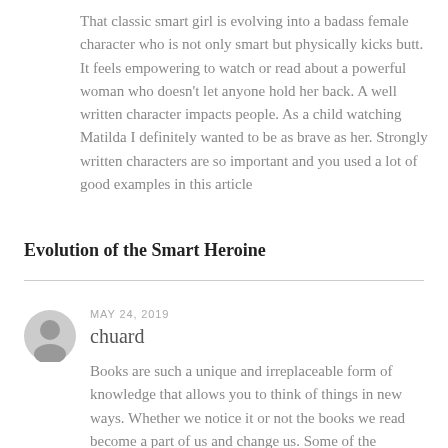That classic smart girl is evolving into a badass female character who is not only smart but physically kicks butt. It feels empowering to watch or read about a powerful woman who doesn't let anyone hold her back. A well written character impacts people. As a child watching Matilda I definitely wanted to be as brave as her. Strongly written characters are so important and you used a lot of good examples in this article
Evolution of the Smart Heroine
MAY 24, 2019
chuard
Books are such a unique and irreplaceable form of knowledge that allows you to think of things in new ways. Whether we notice it or not the books we read become a part of us and change us. Some of the